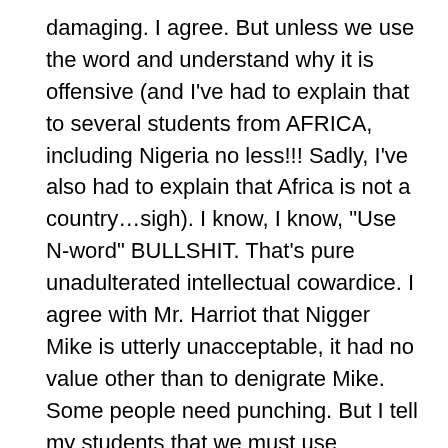damaging. I agree. But unless we use the word and understand why it is offensive (and I've had to explain that to several students from AFRICA, including Nigeria no less!!! Sadly, I've also had to explain that Africa is not a country…sigh). I know, I know, "Use N-word" BULLSHIT. That's pure unadulterated intellectual cowardice. I agree with Mr. Harriot that Nigger Mike is utterly unacceptable, it had no value other than to denigrate Mike. Some people need punching. But I tell my students that we must use absolutely accurate language in the classroom and in our research for scholarly purposes. But that often, that language we use in exploring issues is utterly reprehensible on the street.

I had one student submit a proposal to write a research